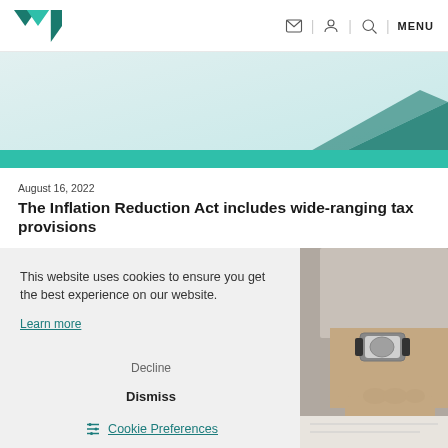MENU
[Figure (illustration): Website hero banner with light teal gradient background and teal decorative chevron shapes, with a solid teal horizontal bar at the bottom]
August 16, 2022
The Inflation Reduction Act includes wide-ranging tax provisions
This website uses cookies to ensure you get the best experience on our website. Learn more
Decline
Dismiss
⚙ Cookie Preferences
[Figure (photo): Photo of a person's hand with a watch, signing or pointing at documents on a desk]